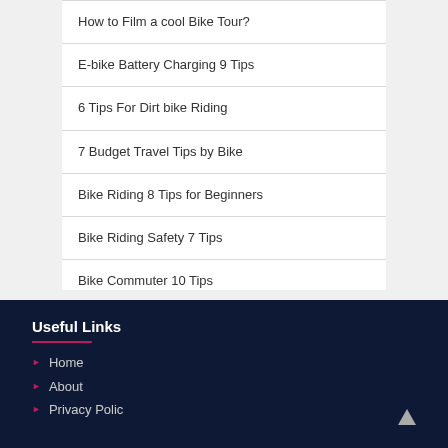How to Film a cool Bike Tour?
E-bike Battery Charging 9 Tips
6 Tips For Dirt bike Riding
7 Budget Travel Tips by Bike
Bike Riding 8 Tips for Beginners
Bike Riding Safety 7 Tips
Bike Commuter 10 Tips
Useful Links
Home
About
Privacy Policy